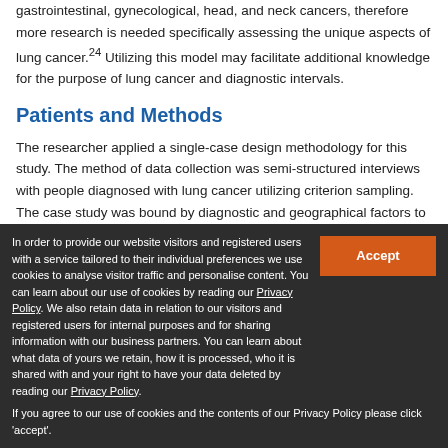gastrointestinal, gynecological, head, and neck cancers, therefore more research is needed specifically assessing the unique aspects of lung cancer.²⁴ Utilizing this model may facilitate additional knowledge for the purpose of lung cancer and diagnostic intervals.
Patients and Methods
The researcher applied a single-case design methodology for this study. The method of data collection was semi-structured interviews with people diagnosed with lung cancer utilizing criterion sampling. The case study was bound by diagnostic and geographical factors to frame the single-case:
In order to provide our website visitors and registered users with a service tailored to their individual preferences we use cookies to analyse visitor traffic and personalise content. You can learn about our use of cookies by reading our Privacy Policy. We also retain data in relation to our visitors and registered users for internal purposes and for sharing information with our business partners. You can learn about what data of yours we retain, how it is processed, who it is shared with and your right to have your data deleted by reading our Privacy Policy.
If you agree to our use of cookies and the contents of our Privacy Policy please click 'accept'.